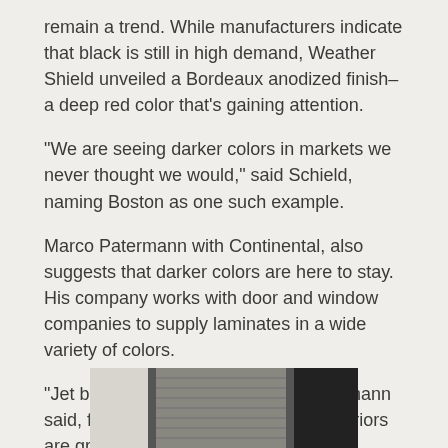remain a trend. While manufacturers indicate that black is still in high demand, Weather Shield unveiled a Bordeaux anodized finish–a deep red color that's gaining attention.
“We are seeing darker colors in markets we never thought we would,” said Schield, naming Boston as one such example.
Marco Patermann with Continental, also suggests that darker colors are here to stay. His company works with door and window companies to supply laminates in a wide variety of colors.
“Jet black is still the best seller,” Patermann said, further suggesting that wood exteriors are growing in popularity as well.
[Figure (photo): A partial photograph showing what appears to be a window or door frame, dark-colored, viewed from close up.]